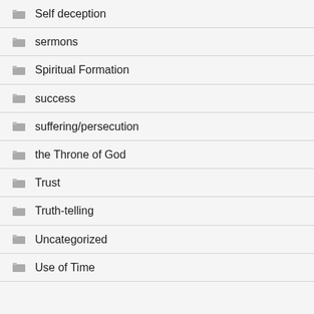Self deception
sermons
Spiritual Formation
success
suffering/persecution
the Throne of God
Trust
Truth-telling
Uncategorized
Use of Time